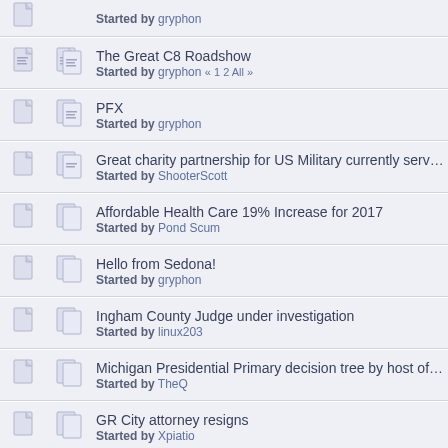Started by gryphon (partial, top cut off)
The Great C8 Roadshow — Started by gryphon « 1 2 All »
PFX — Started by gryphon
Great charity partnership for US Military currently serving — Started by ShooterScott
Affordable Health Care 19% Increase for 2017 — Started by Pond Scum
Hello from Sedona! — Started by gryphon
Ingham County Judge under investigation — Started by linux203
Michigan Presidential Primary decision tree by host of Free Talk Li... — Started by TheQ
GR City attorney resigns — Started by Xpiatio
Ruger OM Blackhawk — Started by (cut off)